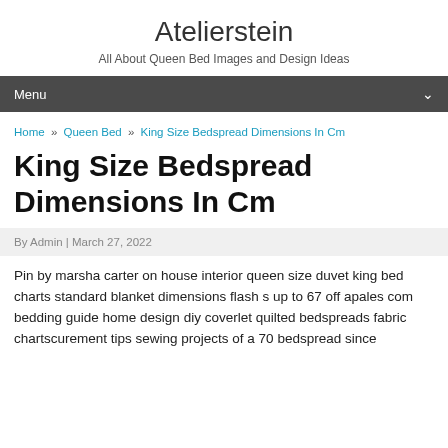Atelierstein
All About Queen Bed Images and Design Ideas
Menu
Home » Queen Bed » King Size Bedspread Dimensions In Cm
King Size Bedspread Dimensions In Cm
By Admin | March 27, 2022
Pin by marsha carter on house interior queen size duvet king bed charts standard blanket dimensions flash s up to 67 off apales com bedding guide home design diy coverlet quilted bedspreads fabric chartscurement tips sewing projects of a 70 bedspread since